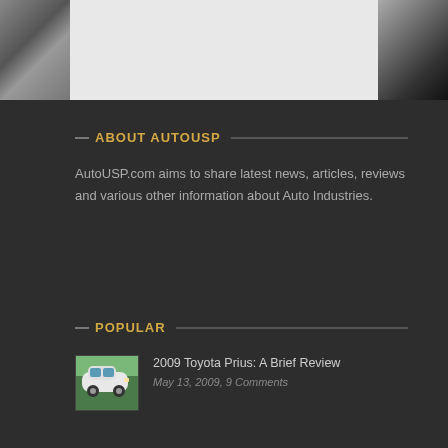[Figure (photo): Top banner with three sections: left grayscale texture, center white/light area, right dark gradient with edge of object]
ABOUT AUTOUSP
AutoUSP.com aims to share latest news, articles, reviews and various other information about Auto Industries.
POPULAR
[Figure (photo): Thumbnail image of a white 2009 Toyota Prius car]
2009 Toyota Prius: A Brief Review
May 13, 2009, 9 Comments